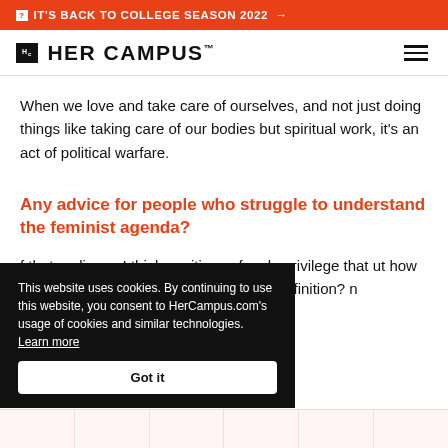IT'S BACK TO COLLEGE SEASON 2022 →
[Figure (logo): Her Campus logo with Hc icon and HER CAMPUS wordmark]
When we love and take care of ourselves, and not just doing things like taking care of our bodies but spiritual work, it's an act of political warfare.
Any advice for people who struggle to understand the feminist agenda?
f that audience I think positions of male privilege that ut how they define humanity ere: what is your definition? n experience? What is
This website uses cookies. By continuing to use this website, you consent to HerCampus.com's usage of cookies and similar technologies. Learn more Got it